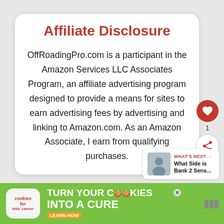Affiliate Disclosure
OffRoadingPro.com is a participant in the Amazon Services LLC Associates Program, an affiliate advertising program designed to provide a means for sites to earn advertising fees by advertising and linking to Amazon.com. As an Amazon Associate, I earn from qualifying purchases.
[Figure (screenshot): Social media sidebar with heart/like button showing count 1, and a share button]
[Figure (infographic): What's Next widget showing 'What Side is Bank 2 Sens...' with a thumbnail image]
[Figure (infographic): Green advertisement banner: 'cookies for kids cancer - turn your COOKIES into a CURE LEARN HOW' with close button and brand logo area]